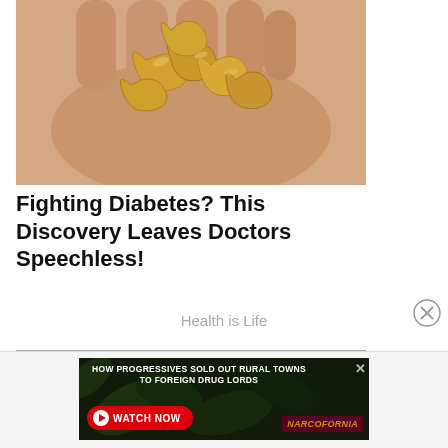[Figure (photo): A hand palm-up holding a cluster of roasted cashew nuts against a light background]
Fighting Diabetes? This Discovery Leaves Doctors Speechless!
Health is Life
[Figure (photo): Partial view of a second article image, partially cut off at bottom]
[Figure (infographic): Advertisement banner: HOW PROGRESSIVES SOLD OUT RURAL TOWNS TO FOREIGN DRUG LORDS – NARCOFORNIA – WATCH NOW button]